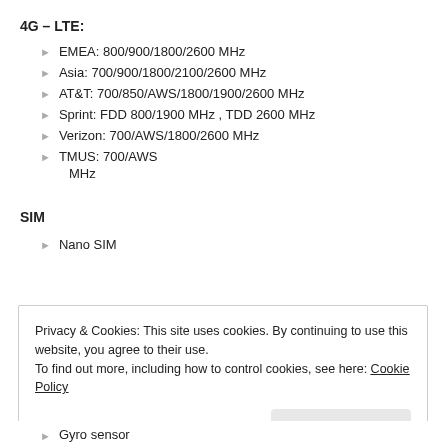4G – LTE:
EMEA: 800/900/1800/2600 MHz
Asia: 700/900/1800/2100/2600 MHz
AT&T: 700/850/AWS/1800/1900/2600 MHz
Sprint: FDD 800/1900 MHz , TDD 2600 MHz
Verizon: 700/AWS/1800/2600 MHz
TMUS: 700/AWS MHz
SIM
Nano SIM
Privacy & Cookies: This site uses cookies. By continuing to use this website, you agree to their use.
To find out more, including how to control cookies, see here: Cookie Policy
Close and accept
Gyro sensor